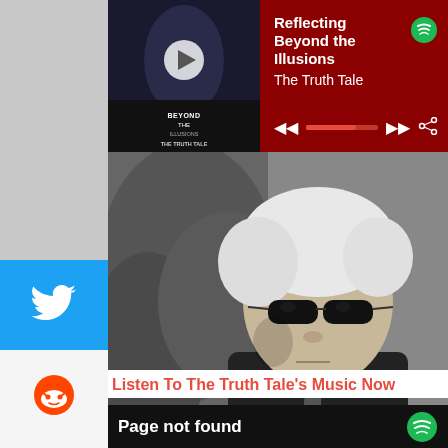[Figure (screenshot): Spotify music player widget showing song 'Reflecting Beyond the Illusions' by The Truth Tale with album art, play button, progress bar, and playback controls on a dark red background]
[Figure (photo): Black and white portrait photograph of a man with light hair wearing dark sunglasses, looking downward, with trees in the background]
Listen To The Truth Tale's Music Now
[Figure (screenshot): Dark bar showing 'Page not found' text in white bold font with green Spotify logo icon on the right]